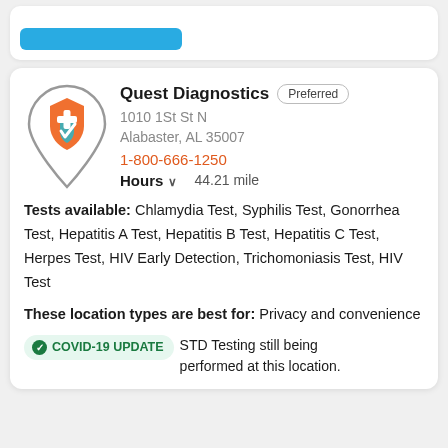[Figure (screenshot): Top partial card with blue button visible at top of page]
Quest Diagnostics
1010 1St St N
Alabaster, AL 35007
1-800-666-1250
Hours  44.21 mile
Tests available: Chlamydia Test, Syphilis Test, Gonorrhea Test, Hepatitis A Test, Hepatitis B Test, Hepatitis C Test, Herpes Test, HIV Early Detection, Trichomoniasis Test, HIV Test
These location types are best for: Privacy and convenience
COVID-19 UPDATE  STD Testing still being performed at this location.